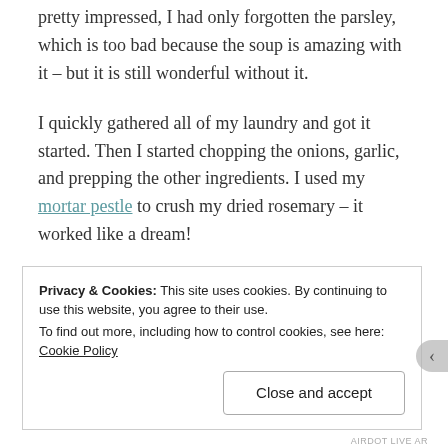pretty impressed, I had only forgotten the parsley, which is too bad because the soup is amazing with it – but it is still wonderful without it.
I quickly gathered all of my laundry and got it started. Then I started chopping the onions, garlic, and prepping the other ingredients. I used my mortar pestle to crush my dried rosemary – it worked like a dream!
Here is the final product:
[Figure (photo): A bowl of tomato-based pasta soup on a white plate, photographed from above against a dark background. The soup contains penne pasta in an orange-red broth.]
Privacy & Cookies: This site uses cookies. By continuing to use this website, you agree to their use. To find out more, including how to control cookies, see here: Cookie Policy